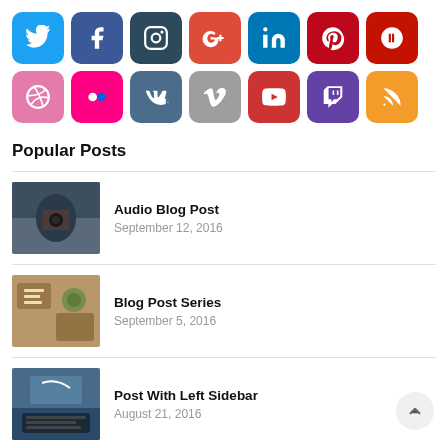[Figure (infographic): Grid of 14 social media icon buttons: Twitter (blue), Facebook (dark blue), Instagram (dark teal), Google+ (red), LinkedIn (blue), Pinterest (dark red), Yelp (dark red), Dribbble (pink), Flickr (magenta), VK (blue-grey), Vimeo (grey), YouTube (red), Twitch (purple), RSS (orange)]
Popular Posts
[Figure (photo): Thumbnail photo of hands holding audio equipment]
Audio Blog Post
September 12, 2016
[Figure (photo): Thumbnail photo of wooden blocks with letters]
Blog Post Series
September 5, 2016
[Figure (photo): Thumbnail photo of person typing on keyboard]
Post With Left Sidebar
August 21, 2016